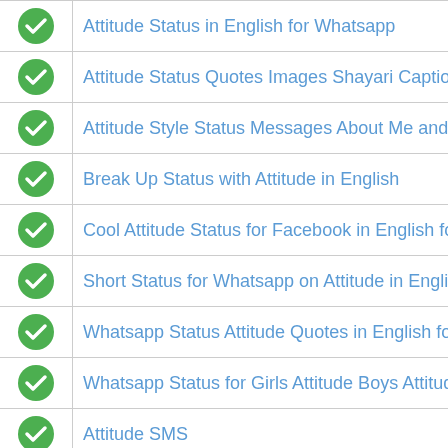Attitude Status in English for Whatsapp
Attitude Status Quotes Images Shayari Captions Th...
Attitude Style Status Messages About Me and Myse...
Break Up Status with Attitude in English
Cool Attitude Status for Facebook in English for Girl...
Short Status for Whatsapp on Attitude in English Gi...
Whatsapp Status Attitude Quotes in English for King...
Whatsapp Status for Girls Attitude Boys Attitude with...
Attitude SMS
Attitude Status in Hindi for Whatsapp
Best Bollywood Movie Dialogues in Hindi Film Attitu...
Rude Boy Attitude Status Hurt Lines for